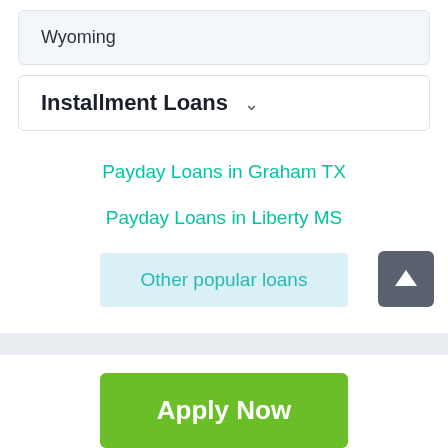Wyoming
Installment Loans
Payday Loans in Graham TX
Payday Loans in Liberty MS
Other popular loans
Apply Now
Applying does NOT affect your credit score! No credit check to apply.